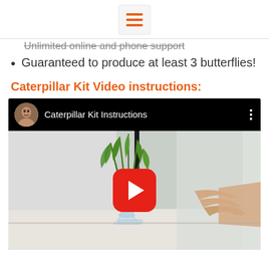[hamburger menu icon]
Unlimited online and phone support (strikethrough)
Guaranteed to produce at least 3 butterflies!
Caterpillar Kit Video instructions:
[Figure (screenshot): YouTube video embed showing 'Caterpillar Kit Instructions' with a man's avatar thumbnail, a plant in a glass vase on a white background, and a red YouTube play button overlay.]